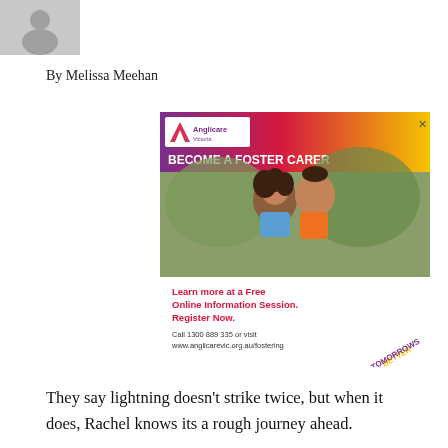[Figure (photo): Small thumbnail photo placeholder in top-left corner]
By Melissa Meehan
[Figure (infographic): Anglicare Victoria advertisement: BECOME A FOSTER CARER. Photo of two smiling children hugging. Text: Learn more at a Free Online Information Session. Register Now. Call 1300 889 335 or visit www.anglicarevic.org.au/fostering. Better Tomorrows tagline.]
They say lightning doesn't strike twice, but when it does, Rachel knows its a rough journey ahead.